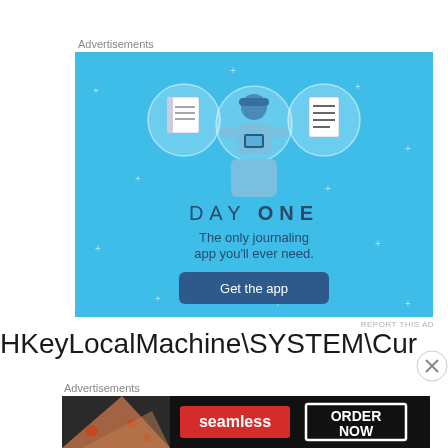Advertisements
[Figure (illustration): Day One journaling app advertisement. Blue background with sparkle dots, three circular icons (notebook, person using phone, checklist), person illustration holding phone, text 'DAY ONE The only journaling app you'll ever need.' and a dark blue 'Get the app' button.]
REPORT THIS AD
HKeyLocalMachine\SYSTEM\CurrentControlSet\Co
Advertisements
[Figure (illustration): Seamless food delivery advertisement. Dark background with pizza photo on left, red 'seamless' badge in center, white bordered 'ORDER NOW' text on right.]